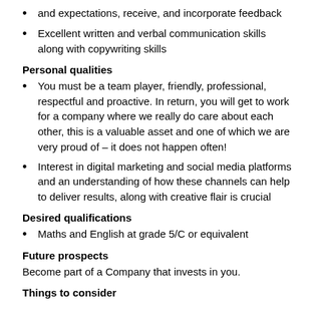and expectations, receive, and incorporate feedback
Excellent written and verbal communication skills along with copywriting skills
Personal qualities
You must be a team player, friendly, professional, respectful and proactive. In return, you will get to work for a company where we really do care about each other, this is a valuable asset and one of which we are very proud of – it does not happen often!
Interest in digital marketing and social media platforms and an understanding of how these channels can help to deliver results, along with creative flair is crucial
Desired qualifications
Maths and English at grade 5/C or equivalent
Future prospects
Become part of a Company that invests in you.
Things to consider